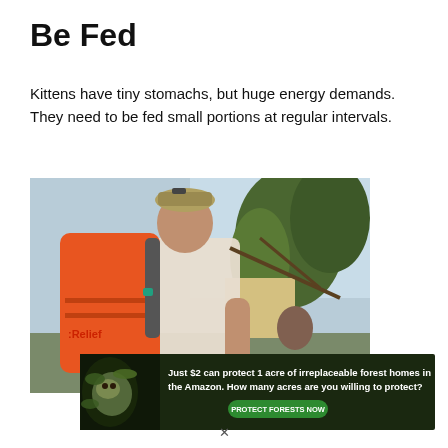Be Fed
Kittens have tiny stomachs, but huge energy demands. They need to be fed small portions at regular intervals.
[Figure (photo): Person from behind wearing an orange relief backpack labeled 'Relief', with palm trees and tropical scenery in the background.]
[Figure (infographic): Advertisement banner with dark forest background, sloth image, and text: 'Just $2 can protect 1 acre of irreplaceable forest homes in the Amazon. How many acres are you willing to protect?' with a green button labeled 'PROTECT FORESTS NOW']